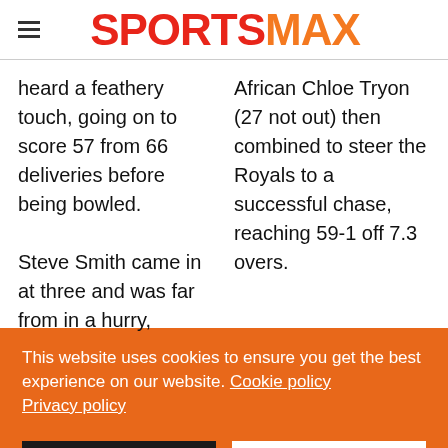SPORTSMAX
heard a feathery touch, going on to score 57 from 66 deliveries before being bowled.

Steve Smith came in at three and was far from in a hurry,
African Chloe Tryon (27 not out) then combined to steer the Royals to a successful chase, reaching 59-1 off 7.3 overs.
This website uses cookies to ensure you get the best experience on our website. Cookie policy
Privacy policy
Decline
Allow cookies